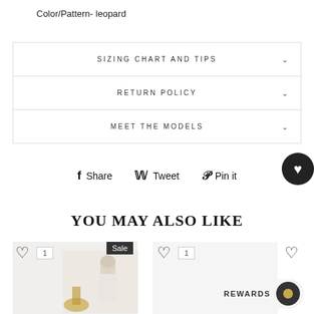Color/Pattern- leopard
SIZING CHART AND TIPS
RETURN POLICY
MEET THE MODELS
Share  Tweet  Pin it
YOU MAY ALSO LIKE
[Figure (screenshot): Product listing screenshot with two product cards, each showing a heart wishlist icon and quantity badge of 1. Left card has a Sale badge and shows a person in a light-colored top. Right card is blank. Below the cards is a Rewards button.]